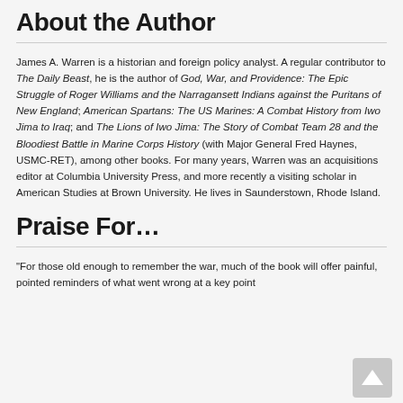About the Author
James A. Warren is a historian and foreign policy analyst. A regular contributor to The Daily Beast, he is the author of God, War, and Providence: The Epic Struggle of Roger Williams and the Narragansett Indians against the Puritans of New England; American Spartans: The US Marines: A Combat History from Iwo Jima to Iraq; and The Lions of Iwo Jima: The Story of Combat Team 28 and the Bloodiest Battle in Marine Corps History (with Major General Fred Haynes, USMC-RET), among other books. For many years, Warren was an acquisitions editor at Columbia University Press, and more recently a visiting scholar in American Studies at Brown University. He lives in Saunderstown, Rhode Island.
Praise For…
"For those old enough to remember the war, much of the book will offer painful, pointed reminders of what went wrong at a key point...